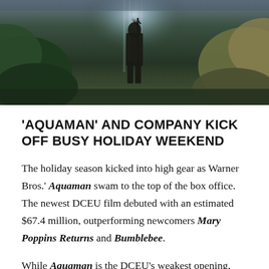[Figure (photo): Dark moody scene showing a silhouetted figure standing in a misty jungle/waterfall environment, holding what appears to be a trident, with green foliage visible on the sides — promotional image for the film Aquaman.]
'AQUAMAN' AND COMPANY KICK OFF BUSY HOLIDAY WEEKEND
The holiday season kicked into high gear as Warner Bros.' Aquaman swam to the top of the box office. The newest DCEU film debuted with an estimated $67.4 million, outperforming newcomers Mary Poppins Returns and Bumblebee.
While Aquaman is the DCEU's weakest opening, Warner Bros. may be more focused on the marathon than dashing out opening weekend breaking records.